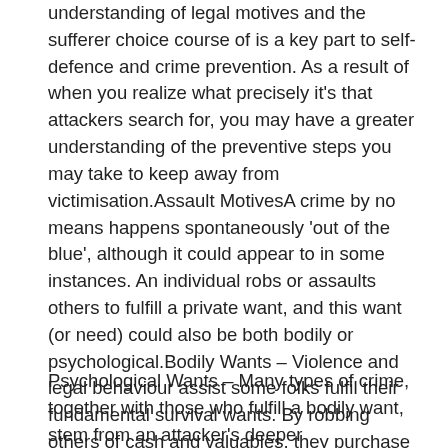understanding of legal motives and the sufferer choice course of is a key part to self-defence and crime prevention. As a result of when you realize what precisely it's that attackers search for, you may have a greater understanding of the preventive steps you may take to keep away from victimisation.Assault MotivesA crime by no means happens spontaneously 'out of the blue', although it could appear to in some instances. An individual robs or assaults others to fulfill a private want, and this want (or need) could also be both bodily or psychological.Bodily Wants – Violence and legal behaviour assist some folks fulfil their fundamental survival wants. By robbing others of cash and valuables, they purchase the means to help themselves. As soon as these wants are met, nonetheless, they could nonetheless proceed the behaviour or use violence in opposition to those that threaten to decrease their sources.
Psychological Wants – Many types of crime, together with those who fulfill a bodily want, stem from an attacker's deeper psychological wants. For instance, it could appear...